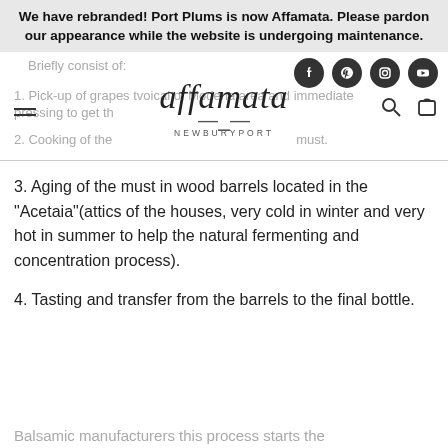We have rebranded! Port Plums is now Affamata. Please pardon our appearance while the website is undergoing maintenance.
[Figure (logo): Affamata logo with italic script text 'affamata' and subtitle 'NEWBURYPORT', with a rolling pin graphic between]
3. Aging of the must in wood barrels located in the "Acetaia"(attics of the houses, very cold in winter and very hot in summer to help the natural fermenting and concentration process).
4. Tasting and transfer from the barrels to the final bottle.
Briefly consist of:
1. Pick-up of grapes tvoical of Modena area and immediate pressing to get th
2. Cooking of the must.